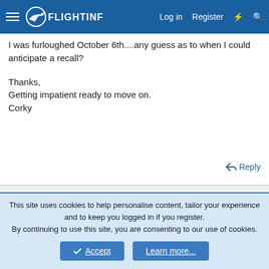FlightInfo — Log in | Register
I was furloughed October 6th....any guess as to when I could anticipate a recall?

Thanks,
Getting impatient ready to move on.
Corky
Reply
exeagle
Well-known member
Jan 15, 2002   #2
This site uses cookies to help personalise content, tailor your experience and to keep you logged in if you register.
By continuing to use this site, you are consenting to our use of cookies.
Accept   Learn more...